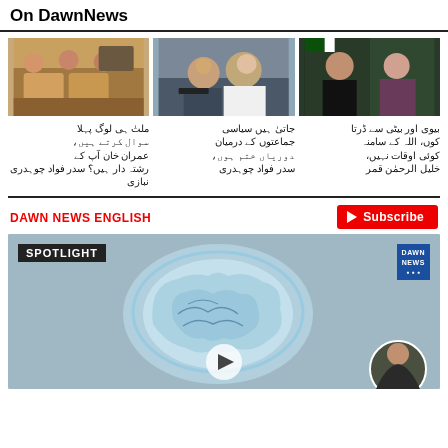On DawnNews
[Figure (photo): Three TV show thumbnail images side by side: left shows people sitting on sofas in a home setting, middle shows two men at a press conference, right shows a man in black suit and a woman outdoors]
بیوی اور بیٹی سے ڈرتا کوں، اللہ کے سامنہ کوئی اوقات نہیں، خلیل الرحمٰن قمر
جاتیٰ ہیں سیاسی جماعتوں کے درمیان دوریاں ختم ہوں، سدر فواد چوہدری
ملتٰ ہی لوگ پہلا سوال کرتے ہیں، عمران خان آپ کے رشتہ دار ہیں؟ سدر فواد چوہدری نبازی
DAWN NEWS ENGLISH
[Figure (screenshot): YouTube video thumbnail showing Dawn News Spotlight segment with a glowing brain graphic, Dawn News logo top right, and presenter circle bottom right]